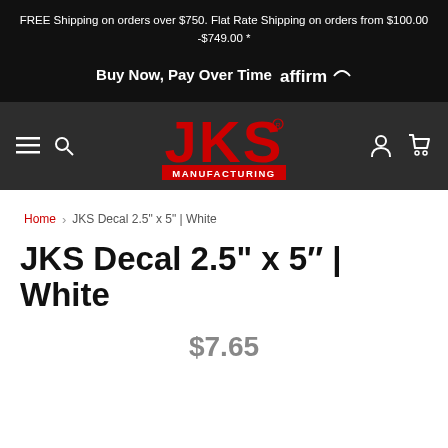FREE Shipping on orders over $750. Flat Rate Shipping on orders from $100.00 -$749.00 *
Buy Now, Pay Over Time  affirm
[Figure (logo): JKS Manufacturing logo — red bold stylized text 'JKS' with 'MANUFACTURING' below in red on dark background]
Home > JKS Decal 2.5" x 5" | White
JKS Decal 2.5" x 5" | White
$7.65